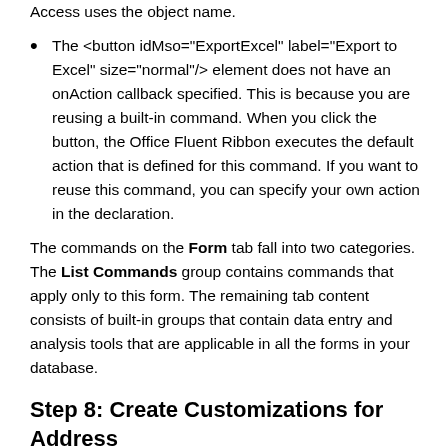Access uses the object name.
The <button idMso="ExportExcel" label="Export to Excel" size="normal"/> element does not have an onAction callback specified. This is because you are reusing a built-in command. When you click the button, the Office Fluent Ribbon executes the default action that is defined for this command. If you want to reuse this command, you can specify your own action in the declaration.
The commands on the Form tab fall into two categories. The List Commands group contains commands that apply only to this form. The remaining tab content consists of built-in groups that contain data entry and analysis tools that are applicable in all the forms in your database.
Step 8: Create Customizations for Address